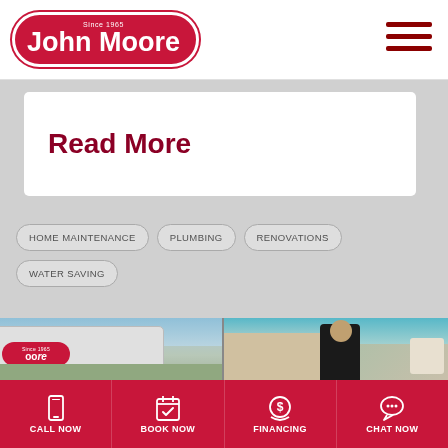[Figure (logo): John Moore Services logo - red oval shape with white text 'John Moore' and 'Since 1965' above]
Read More
HOME MAINTENANCE
PLUMBING
RENOVATIONS
WATER SAVING
[Figure (photo): John Moore service van and technician at a residential property]
CALL NOW | BOOK NOW | FINANCING | CHAT NOW